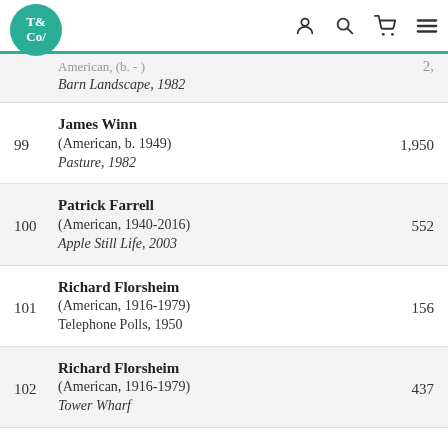T& Co/ [logo] [icons: user, search, cart, menu]
| Lot | Artist / Work | Price |
| --- | --- | --- |
|  | American, (b.  -)  Barn Landscape, 1982 | 2,   |
| 99 | James Winn
(American, b. 1949)
Pasture, 1982 | 1,950 |
| 100 | Patrick Farrell
(American, 1940-2016)
Apple Still Life, 2003 | 552 |
| 101 | Richard Florsheim
(American, 1916-1979)
Telephone Polls, 1950 | 156 |
| 102 | Richard Florsheim
(American, 1916-1979)
Tower Wharf | 437 |